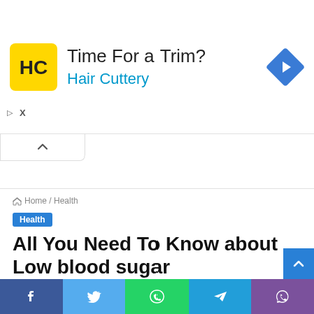[Figure (infographic): Advertisement banner for Hair Cuttery with yellow logo, 'Time For a Trim?' text, blue 'Hair Cuttery' subtitle, and blue diamond navigation icon on the right.]
Home / Health
Health
All You Need To Know about Low blood sugar (hypoglycemia)
Skillz · April 9, 2022 · 0 · 37 · 7 minutes read